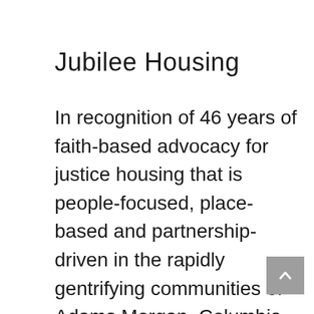Jubilee Housing
In recognition of 46 years of faith-based advocacy for justice housing that is people-focused, place-based and partnership-driven in the rapidly gentrifying communities of Adams Morgan, Columbia Heights, and Mount Pleasant; the production of 300 residential units in 10 properties for low income residents through (continues...)